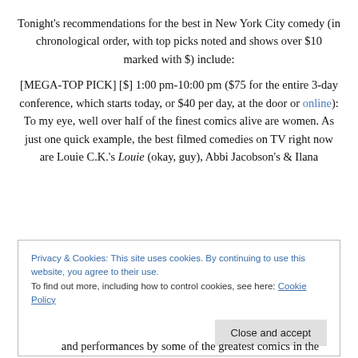Tonight's recommendations for the best in New York City comedy (in chronological order, with top picks noted and shows over $10 marked with $) include:
[MEGA-TOP PICK] [$] 1:00 pm-10:00 pm ($75 for the entire 3-day conference, which starts today, or $40 per day, at the door or online): To my eye, well over half of the finest comics alive are women. As just one quick example, the best filmed comedies on TV right now are Louie C.K.'s Louie (okay, guy), Abbi Jacobson's & Ilana
Privacy & Cookies: This site uses cookies. By continuing to use this website, you agree to their use.
To find out more, including how to control cookies, see here: Cookie Policy
and performances by some of the greatest comics in the